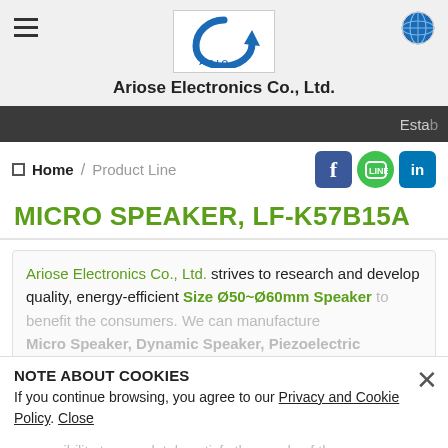Ariose Electronics Co., Ltd.
Established
Home / Product Line
MICRO SPEAKER, LF-K57B15A
Ariose Electronics Co., Ltd. strives to research and develop quality, energy-efficient Size Ø50~Ø60mm Speaker to benefit the consumers. We can manufacture Micro Speaker, Dynamic Speaker, Piezoelectric Speaker, responsibility to completely satisfy the needs of the people and organizations that use and distribute
NOTE ABOUT COOKIES
If you continue browsing, you agree to our Privacy and Cookie Policy. Close